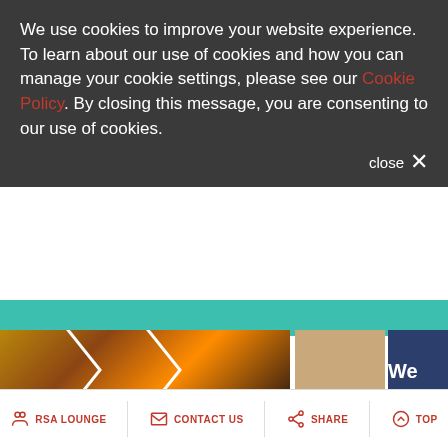We use cookies to improve your website experience. To learn about our use of cookies and how you can manage your cookie settings, please see our Cookie Policy. By closing this message, you are consenting to our use of cookies.
close ✕
[Figure (screenshot): Teal navigation bar and image strip showing a partial website banner with geometric chevron overlay on orange/dark images, a beige/tan image section, and a dark navy partial logo area showing 'We']
Europe
[Figure (map): Light grey map area placeholder]
RSA LOUNGE   CONTACT US   SHARE   TOP